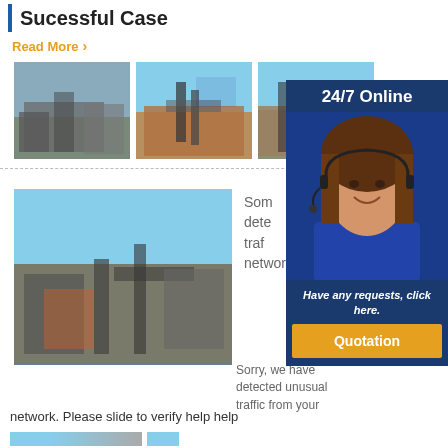Sucessful Case
Read More
[Figure (photo): Three photos of mining/crushing plant equipment in outdoor settings]
[Figure (photo): Large mining/crushing plant with conveyor belts; overlay text: Email:lmzgvip@gmail.com]
Som... dete... traf... network.
Sorry, we have detected unusual traffic from your network. Please slide to verify help help
[Figure (photo): Overlay panel: 24/7 Online with customer service agent photo, Have any requests, click here. button, Quotation button]
[Figure (photo): Small thumbnails at bottom of page]